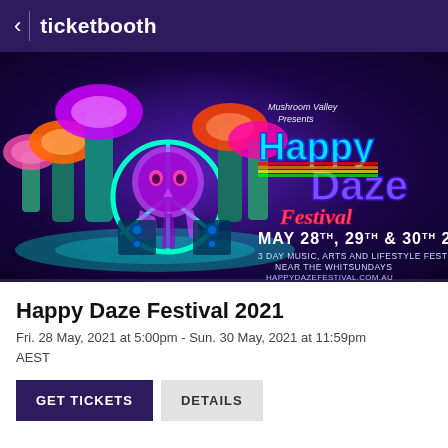ticketbooth
[Figure (illustration): Happy Daze Festival 2021 promotional banner. Dark purple background with psychedelic mushroom illustrations and a peace sign skull. Text reads: Mushroom Valley Presents Happy Daze Festival, MAY 28TH, 29TH & 30TH 2021, 3 DAY MUSIC, ARTS AND LIFESTYLE FESTIVAL NEAR THE WHITSUNDAYS, HAPPYDAZEFESTIVAL.COM.AU]
Happy Daze Festival 2021
Fri. 28 May, 2021 at 5:00pm - Sun. 30 May, 2021 at 11:59pm AEST
GET TICKETS   DETAILS